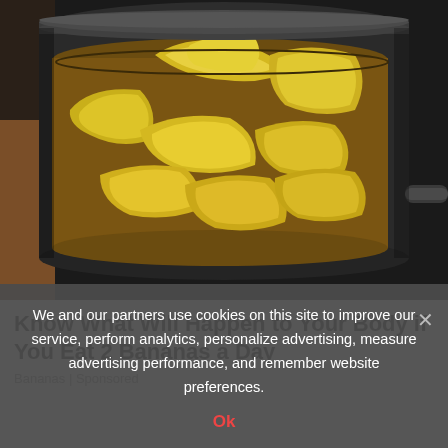[Figure (photo): Photo of sliced bananas cooking in a dark saucepan, seen from above. Banana slices are yellow and glossy, filling the pan.]
Know What Will Happen to Your Body if You Eat 2 Bananas a Day
Bananas | Sponsored
We and our partners use cookies on this site to improve our service, perform analytics, personalize advertising, measure advertising performance, and remember website preferences.
Ok